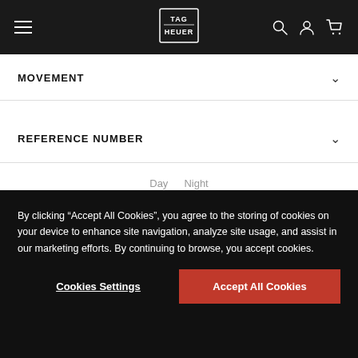TAG Heuer navigation header with menu, logo, search, account, and cart icons
MOVEMENT
REFERENCE NUMBER
Day   Night
By clicking “Accept All Cookies”, you agree to the storing of cookies on your device to enhance site navigation, analyze site usage, and assist in our marketing efforts. By continuing to browse, you accept cookies.
Cookies Settings
Accept All Cookies